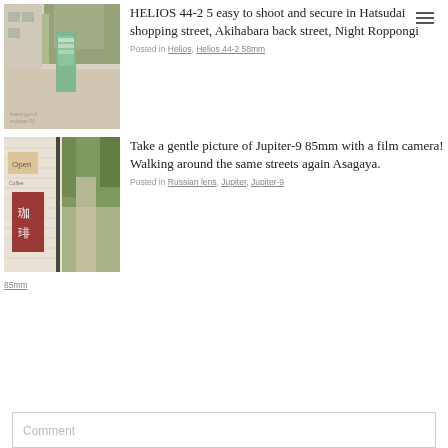[Figure (photo): Street scene with a green vending machine or kiosk along a tree-lined path, residential buildings in background, slightly overexposed film look]
HELIOS 44-2 5 easy to shoot and secure in Hatsudai shopping street, Akihabara back street, Night Roppongi
Posted in Helios, Helios 44-2 58mm
[Figure (photo): Japanese coffee shop entrance with wooden white walls, a red sign with Japanese kanji characters (珈琲), and a path with trees in the background]
Take a gentle picture of Jupiter-9 85mm with a film camera! Walking around the same streets again Asagaya.
Posted in Russian lens, Jupiter, Jupiter-9 85mm